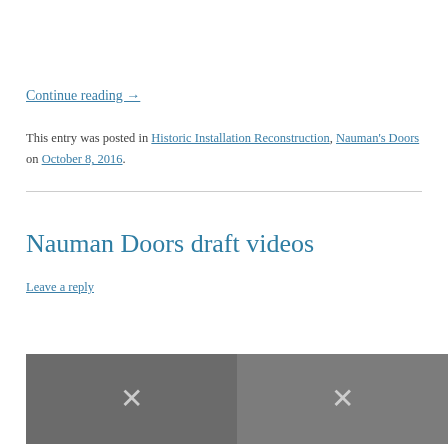Continue reading →
This entry was posted in Historic Installation Reconstruction, Nauman's Doors on October 8, 2016.
Nauman Doors draft videos
Leave a reply
[Figure (screenshot): Two video thumbnails side by side, both dark gray/charcoal colored with X marks indicating unavailable or deleted videos]